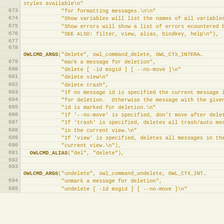[Figure (screenshot): Source code viewer showing C code lines 673-695, with line numbers in left column and code in orange/brown monospace font on beige background. Code shows OWLCMD_ARGS and OWLCMD_ALIAS macro definitions for 'delete' and 'undelete' commands.]